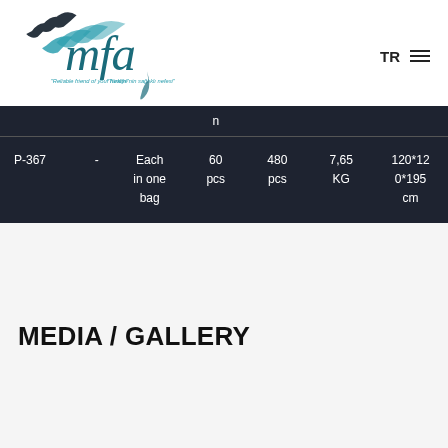[Figure (logo): MFA logo with taglines 'Reliable friend of your health' and 'Türkiye'nin sağlıklı nefesi']
|  |  |  | n |  |  |  |
| --- | --- | --- | --- | --- | --- | --- |
| P-367 | - | Each in one bag | 60 pcs | 480 pcs | 7,65 KG | 120*120*195 cm |
MEDIA / GALLERY